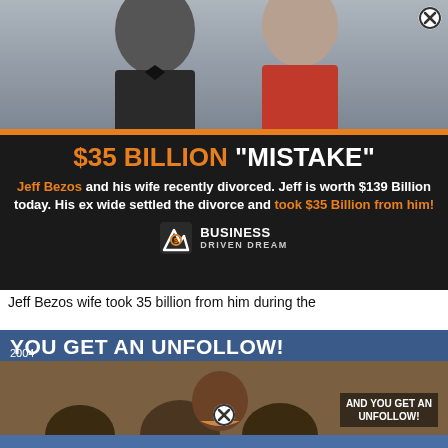[Figure (photo): Advertisement image showing a couple in formal wear at the top, overlaid with a dark banner ad for 'Business Driven Dream' about Jeff Bezos $35 billion divorce settlement]
Jeff Bezos wife took 35 billion from him during the
[Figure (photo): Meme image showing an Oprah Winfrey show clip from 2004 with text overlays 'YOU GET AN UNFOLLOW!' and 'AND YOU GET AN UNFOLLOW!']